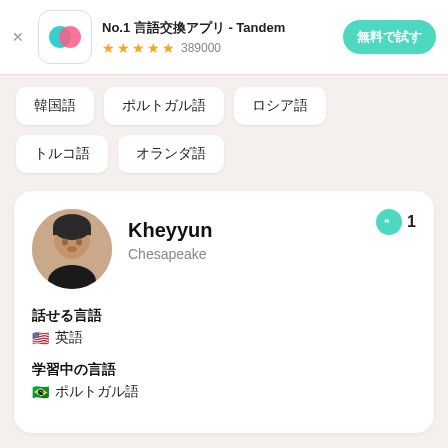[Figure (screenshot): App advertisement banner for Tandem language exchange app with icon, star rating 389000, and a teal '無料で試す' (Try for free) button]
韓国語
ポルトガル語
ロシア語
トルコ語
オランダ語
Kheyyun
Chesapeake
話せる言語
🇺🇸 英語
学習中の言語
🇧🇷 ポルトガル語